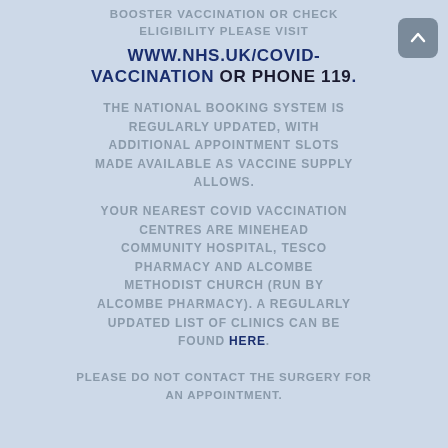BOOSTER VACCINATION OR CHECK ELIGIBILITY PLEASE VISIT
WWW.NHS.UK/COVID-VACCINATION OR PHONE 119.
THE NATIONAL BOOKING SYSTEM IS REGULARLY UPDATED, WITH ADDITIONAL APPOINTMENT SLOTS MADE AVAILABLE AS VACCINE SUPPLY ALLOWS.
YOUR NEAREST COVID VACCINATION CENTRES ARE MINEHEAD COMMUNITY HOSPITAL, TESCO PHARMACY AND ALCOMBE METHODIST CHURCH (RUN BY ALCOMBE PHARMACY). A REGULARLY UPDATED LIST OF CLINICS CAN BE FOUND HERE.
PLEASE DO NOT CONTACT THE SURGERY FOR AN APPOINTMENT.